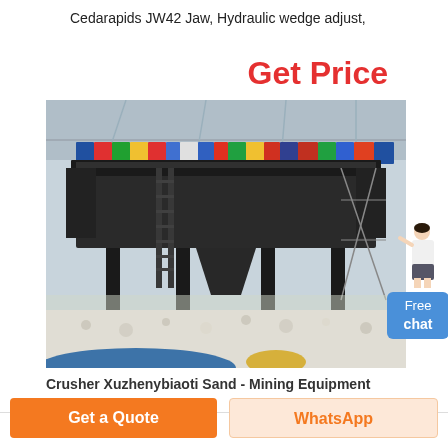Cedarapids JW42 Jaw, Hydraulic wedge adjust,
Get Price
[Figure (photo): Industrial crushing/screening machine (Cedarapids jaw crusher or sand screening equipment) displayed inside a large warehouse with international flags hanging from the ceiling. Gravel/aggregate material visible on the floor in foreground.]
Crusher Xuzhenybiaoti Sand - Mining Equipment Solutions
Free chat
Get a Quote
WhatsApp